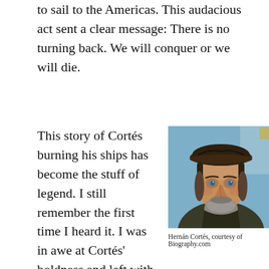to sail to the Americas. This audacious act sent a clear message: There is no turning back. We will conquer or we will die.
This story of Cortés burning his ships has become the stuff of legend. I still remember the first time I heard it. I was in awe at Cortés' boldness and left with the lesson that if I
[Figure (photo): Portrait of Hernán Cortés, a historical painting showing a bearded man wearing a dark hat, courtesy of Biography.com]
Hernán Cortés, courtesy of Biography.com